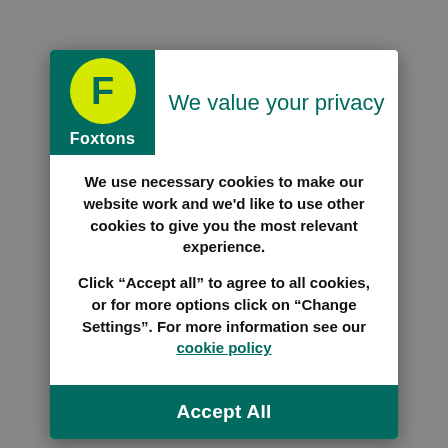[Figure (logo): Foxtons logo: green background box with yellow circle containing bold F and Foxtons text in white]
We value your privacy
We use necessary cookies to make our website work and we'd like to use other cookies to give you the most relevant experience.
Click “Accept all” to agree to all cookies, or for more options click on “Change Settings”. For more information see our cookie policy